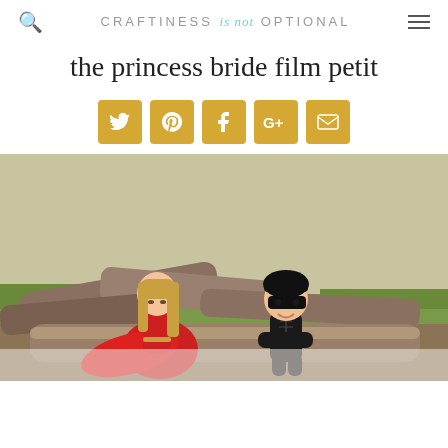CRAFTINESS is not OPTIONAL
the princess bride film petit
[Figure (other): Row of five gold/yellow social media icon buttons: Twitter, Pinterest, Facebook, Google+, Email]
[Figure (photo): Two young children dressed in Princess Bride costumes outdoors near logs and grass. One child wears a red dress/cape with a rope belt, the other wears an all-black outfit with a black mask like Zorro/the Dread Pirate Roberts.]